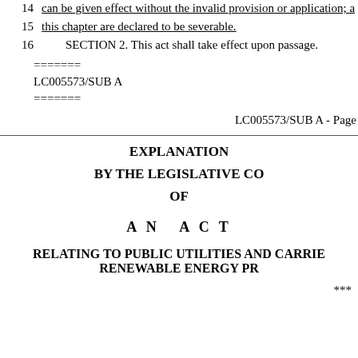14   can be given effect without the invalid provision or application; a
15   this chapter are declared to be severable.
16   SECTION 2. This act shall take effect upon passage.
=======
LC005573/SUB A
=======
LC005573/SUB A - Page
EXPLANATION
BY THE LEGISLATIVE CO
OF
A N   A C T
RELATING TO PUBLIC UTILITIES AND CARRIE RENEWABLE ENERGY PR
***